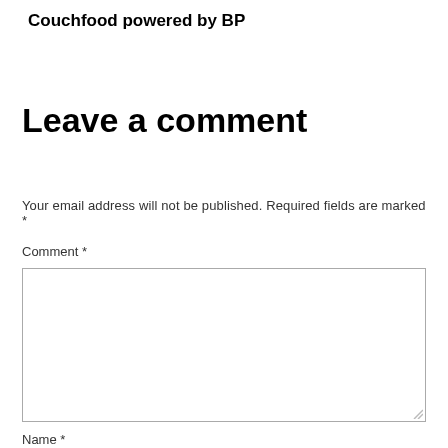Couchfood powered by BP
Leave a comment
Your email address will not be published. Required fields are marked *
Comment *
Name *